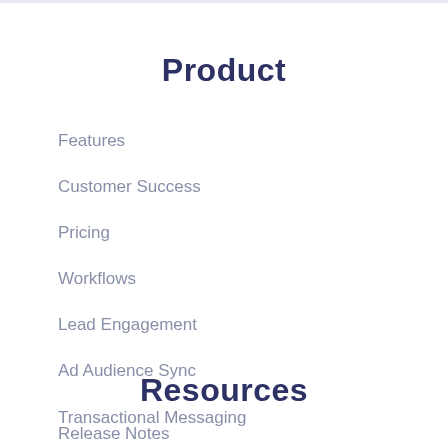Product
Features
Customer Success
Pricing
Workflows
Lead Engagement
Ad Audience Sync
Transactional Messaging
Resources
Release Notes